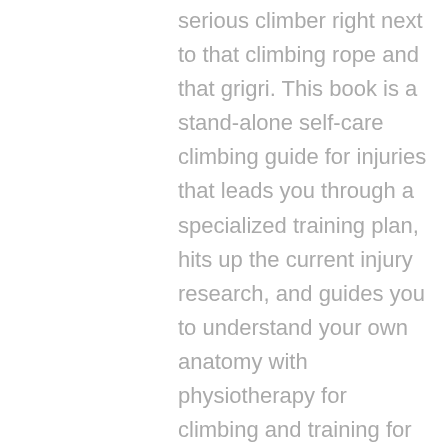serious climber right next to that climbing rope and that grigri. This book is a stand-alone self-care climbing guide for injuries that leads you through a specialized training plan, hits up the current injury research, and guides you to understand your own anatomy with physiotherapy for climbing and training for climbing built in. Regardless of if your bouldering has been side railed for a season or for a decade, Dr. Lisa teaches you how to work on your weaknesses and on your injury with secrets from behind the scenes for USAClimbing and at her climbing-specific clinic in Boulder Colorado. Begin with an injury quiz to help you understand the